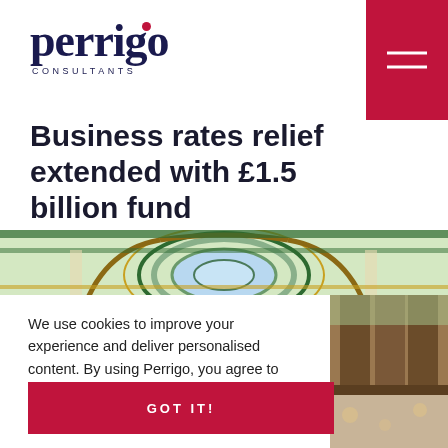perrigo CONSULTANTS
Business rates relief extended with £1.5 billion fund
[Figure (photo): Interior of a grand Victorian arcade with ornate stained-glass ceiling dome and decorative ironwork balconies]
We use cookies to improve your experience and deliver personalised content. By using Perrigo, you agree to our
PRIVACY POLICY
GOT IT!